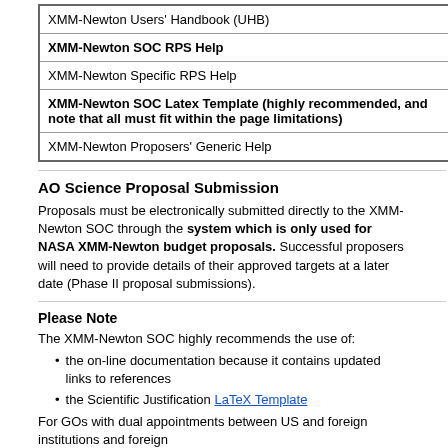| XMM-Newton Users' Handbook (UHB) |
| XMM-Newton SOC RPS Help |
| XMM-Newton Specific RPS Help |
| XMM-Newton SOC Latex Template (highly recommended, and note that all must fit within the page limitations) |
| XMM-Newton Proposers' Generic Help |
AO Science Proposal Submission
Proposals must be electronically submitted directly to the XMM-Newton SOC through the system which is only used for NASA XMM-Newton budget proposals. Successful proposers will need to provide details of their approved targets at a later date (Phase II proposal submissions).
Please Note
The XMM-Newton SOC highly recommends the use of:
the on-line documentation because it contains updated links to references
the Scientific Justification LaTeX Template
For GOs with dual appointments between US and foreign institutions and foreign
if you intend to apply for support through the GOF use your US affiliation,
if this is not possible (e.g., your appointment to a US institution has not started) contact us before March 2022 with your details.